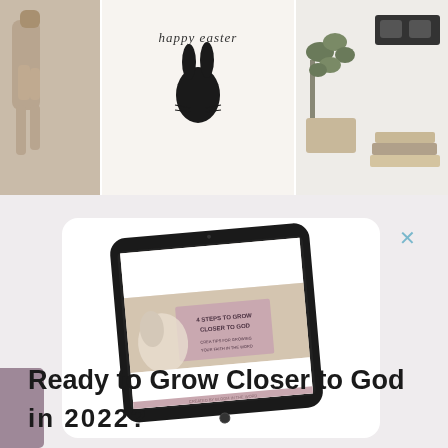[Figure (photo): Top banner showing three photos: left has a wooden skeleton/bone shape on beige background, center has 'happy easter' script text with black bunny silhouette on white background, right shows a succulent plant and glasses with books on light background]
[Figure (screenshot): Popup card with white rounded rectangle containing a tilted tablet/iPad displaying an ebook cover '4 Steps to Grow Closer to God'. A blue X close button appears in the top right corner of the popup overlay.]
Ready to Grow Closer to God
in 2022?